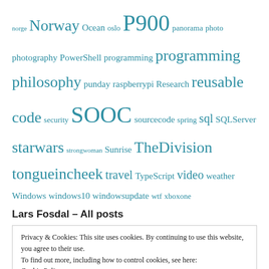norge Norway Ocean oslo P900 panorama photo photography PowerShell programming programming philosophy punday raspberrypi Research reusable code security SOOC sourcecode spring sql SQLServer starwars strongwoman Sunrise TheDivision tongueincheek travel TypeScript video weather Windows windows10 windowsupdate wtf xboxone
Lars Fosdal – All posts
Privacy & Cookies: This site uses cookies. By continuing to use this website, you agree to their use.
To find out more, including how to control cookies, see here:
Cookie Policy

Close and accept